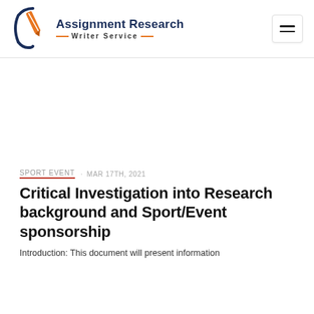[Figure (logo): Assignment Research Writer Service logo with pen icon and navy/orange styling]
SPORT EVENT · MAR 17TH, 2021
Critical Investigation into Research background and Sport/Event sponsorship
Introduction: This document will present information